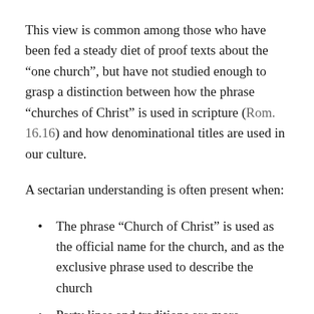This view is common among those who have been fed a steady diet of proof texts about the “one church”, but have not studied enough to grasp a distinction between how the phrase “churches of Christ” is used in scripture (Rom. 16.16) and how denominational titles are used in our culture.
A sectarian understanding is often present when:
The phrase “Church of Christ” is used as the official name for the church, and as the exclusive phrase used to describe the church
Party lines and traditions are more important than scripture (or worse, when adherence to written “statements of faith” are made the test of